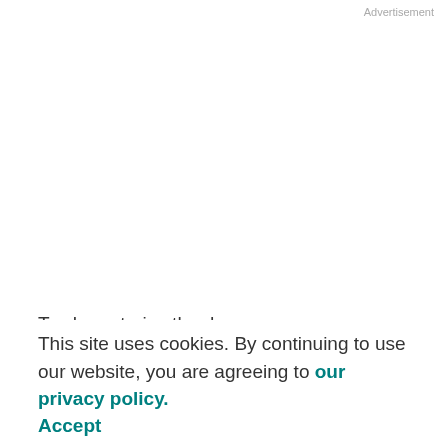Advertisement
To characterize the dose-response relationship between endogenous sex hormones and bone sarcoma risk, a study providing information on lifetime gonadal hormone exposure would be required.
To test the hypothesis that endogenous sex hormones significantly influence bone sarcomagenesis, we conducted a historical cohort study of Rottweiler dogs, a
This site uses cookies. By continuing to use our website, you are agreeing to our privacy policy.
Accept
weight were significant risk factors for bone sarcoma